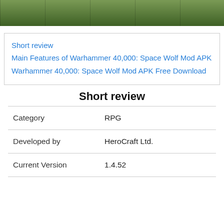[Figure (screenshot): Top banner image showing game screenshots with dark green foliage background]
Short review
Main Features of Warhammer 40,000: Space Wolf Mod APK
Warhammer 40,000: Space Wolf Mod APK Free Download
Short review
| Category | RPG |
| Developed by | HeroCraft Ltd. |
| Current Version | 1.4.52 |